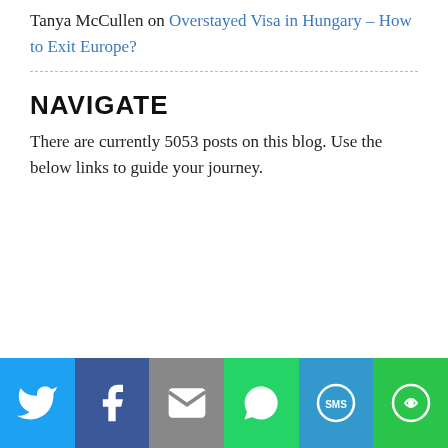Tanya McCullen on Overstayed Visa in Hungary – How to Exit Europe?
NAVIGATE
There are currently 5053 posts on this blog. Use the below links to guide your journey.
Social share bar: Twitter, Facebook, Email, WhatsApp, SMS, More